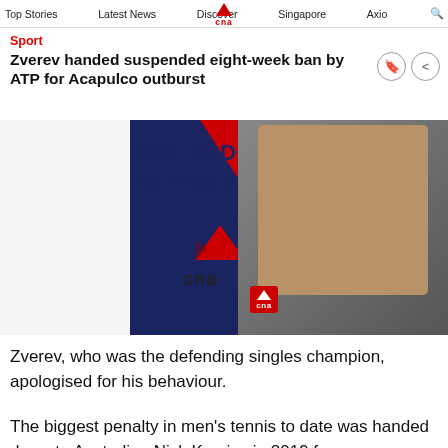Top Stories   Latest News   Discover   Singapore   Axio
Sport
Zverev handed suspended eight-week ban by ATP for Acapulco outburst
[Figure (photo): CNA branded promotional banner with 'AND IN-DEPTH REPORTS' text, CNA logo, geometric graphic pattern, and a female reporter holding a CNA microphone]
Zverev, who was the defending singles champion, apologised for his behaviour.
The biggest penalty in men's tennis to date was handed down to Australian Nick Kyrgios in 2019 for